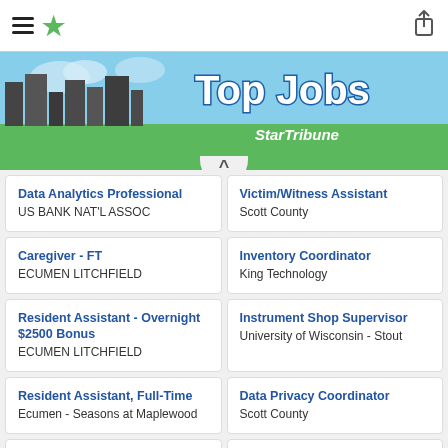Top Jobs - StarTribune
[Figure (illustration): Top Jobs StarTribune banner with city skyline silhouette and green grass]
Data Analytics Professional - US BANK NAT'L ASSOC
Victim/Witness Assistant - Scott County
Caregiver - FT - ECUMEN LITCHFIELD
Inventory Coordinator - King Technology
Resident Assistant - Overnight $2500 Bonus - ECUMEN LITCHFIELD
Instrument Shop Supervisor - University of Wisconsin - Stout
Resident Assistant, Full-Time - Ecumen - Seasons at Maplewood
Data Privacy Coordinator - Scott County
Resident Assistant, Part-Time - Ecumen - Seasons at
Project Manager – Enterprise Business Technology - Scott County